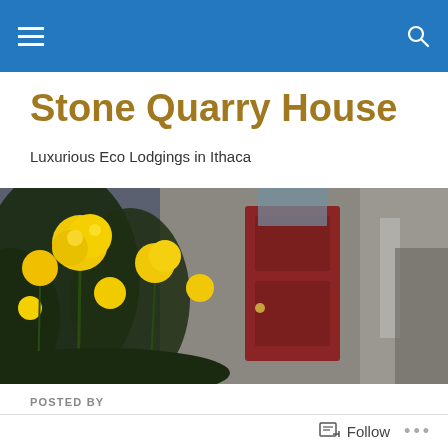Stone Quarry House — navigation bar
Stone Quarry House
Luxurious Eco Lodgings in Ithaca
[Figure (photo): Hero photo of yellow flowers in the foreground with a red door and stone building in the background]
POSTED BY
Nancy's Newest Obsession
Follow  •••